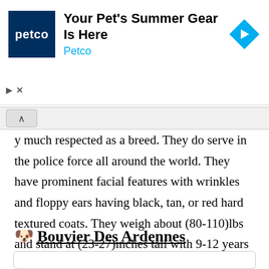[Figure (other): Petco advertisement banner with Petco logo (white text on dark blue background), heading 'Your Pet's Summer Gear Is Here', subheading 'Petco' in cyan, and a cyan diamond-shaped navigation arrow icon on the right.]
y much respected as a breed. They do serve in the police force all around the world. They have prominent facial features with wrinkles and floppy ears having black, tan, or red hard textured coats. They weigh about (80-110)lbs and stand at (23-27)inches tall with 9-12 years of longevity. This breed is moderately expensive and has low grooming needs.
🐶 Bouvier Des Ardennes